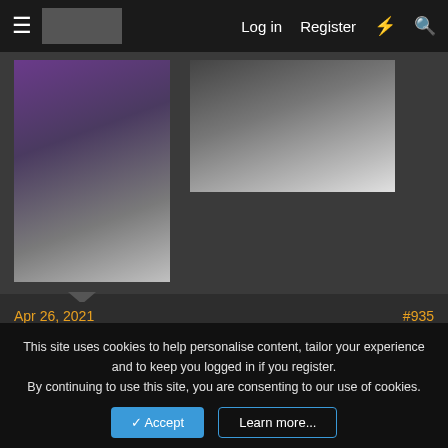Log in  Register
[Figure (photo): Two anime-style avatar images: left shows a character in gray jacket with purple/red background, right shows a white-haired character with red lips]
Apr 26, 2021
#935
soooo

way i see this now is scum trying to get rid of SK

its rej's team vs queen rn

if we lynch scum today then 2 townies likely die tonight and game is over
This site uses cookies to help personalise content, tailor your experience and to keep you logged in if you register.
By continuing to use this site, you are consenting to our use of cookies.
Accept  Learn more...